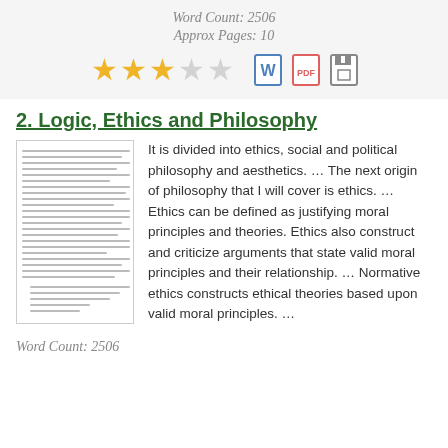Word Count: 2506
Approx Pages: 10
[Figure (infographic): 3 filled gold stars and 2 empty grey stars (rating), plus Word doc icon, PDF icon, and save/disk icon]
2. Logic, Ethics and Philosophy
[Figure (photo): Thumbnail preview of a text document page]
It is divided into ethics, social and political philosophy and aesthetics. … The next origin of philosophy that I will cover is ethics. … Ethics can be defined as justifying moral principles and theories. Ethics also construct and criticize arguments that state valid moral principles and their relationship. … Normative ethics constructs ethical theories based upon valid moral principles. …
Word Count: 2506